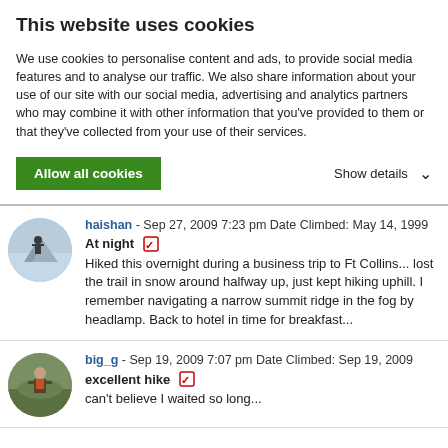This website uses cookies
We use cookies to personalise content and ads, to provide social media features and to analyse our traffic. We also share information about your use of our site with our social media, advertising and analytics partners who may combine it with other information that you've provided to them or that they've collected from your use of their services.
Allow all cookies | Show details ▾
haishan - Sep 27, 2009 7:23 pm Date Climbed: May 14, 1999
At night ☑
Hiked this overnight during a business trip to Ft Collins... lost the trail in snow around halfway up, just kept hiking uphill. I remember navigating a narrow summit ridge in the fog by headlamp. Back to hotel in time for breakfast...
big_g - Sep 19, 2009 7:07 pm Date Climbed: Sep 19, 2009
excellent hike ☑
can't believe I waited so long...